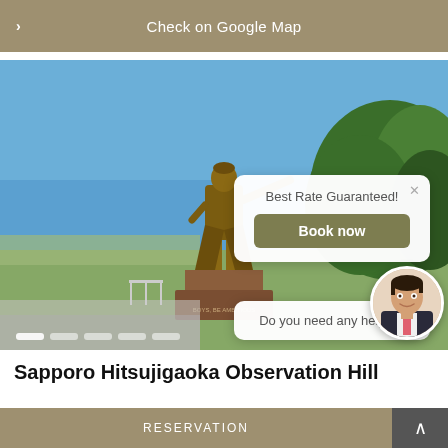Check on Google Map
[Figure (photo): Bronze statue of a man pointing outward, standing on a pedestal, at Sapporo Hitsujigaoka Observation Hill. Blue sky background with green trees on the right and a grassy landscape below.]
Best Rate Guaranteed!
Book now
Do you need any help?
Sapporo Hitsujigaoka Observation Hill
RESERVATION